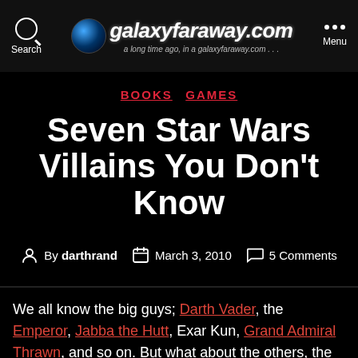galaxyfaraway.com — a long time ago, in a galaxyfaraway.com...
BOOKS   GAMES
Seven Star Wars Villains You Don't Know
By darthrand   March 3, 2010   5 Comments
We all know the big guys; Darth Vader, the Emperor, Jabba the Hutt, Exar Kun, Grand Admiral Thrawn, and so on. But what about the others, the ones who might